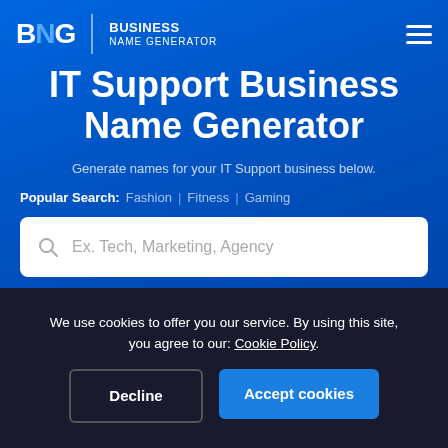BNG | BUSINESS NAME GENERATOR
IT Support Business Name Generator
Generate names for your IT Support business below.
Popular Search: Fashion | Fitness | Gaming
[Figure (screenshot): Search input box with placeholder text 'Ex. Tech, Marketing, Agency' and a search icon]
We use cookies to offer you our service. By using this site, you agree to our: Cookie Policy.
Decline  Accept cookies